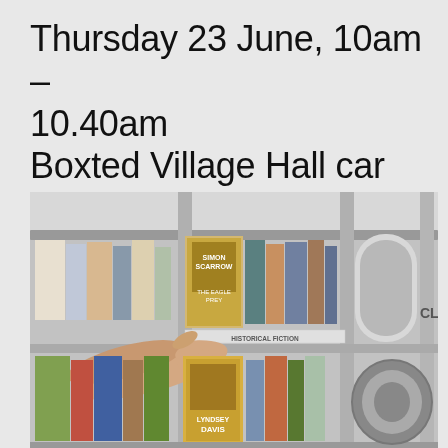Thursday 23 June, 10am – 10.40am Boxted Village Hall car park
[Figure (photo): A hand reaching to take a book from a mobile library bookshelf. Books visible include Simon Scarrow's 'The Eagle Prey' in a Historical Fiction section, and a Lindsey Davis book. The shelving unit is a rotating metal rack.]